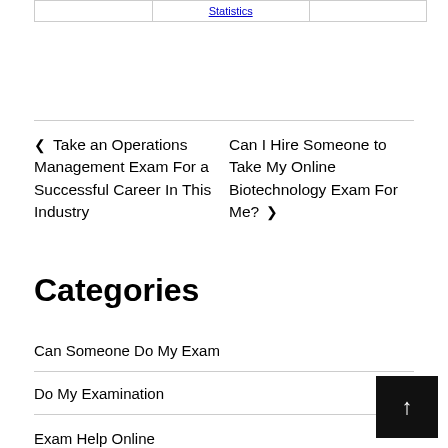| Statistics |
◄ Take an Operations Management Exam For a Successful Career In This Industry
Can I Hire Someone to Take My Online Biotechnology Exam For Me? ►
Categories
Can Someone Do My Exam
Do My Examination
Exam Help Online